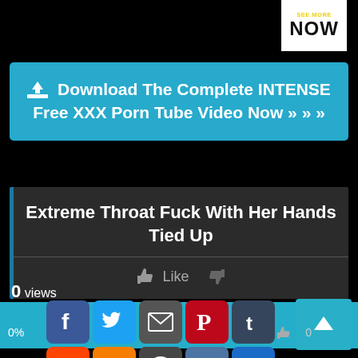[Figure (screenshot): SEE MORE / NOW button in top right corner, white background with yellow 'SEE MORE' text and black 'NOW' text]
Download The Complete INTENSE Free XXX Porn Tube Video Now » » »
Extreme Throat Fuck With Her Hands Tied Up
👍 Like  👎
0 views
0%
[Figure (screenshot): Social sharing buttons row: Facebook, Twitter, Email, Pinterest, Tumblr and scroll-to-top arrow. Second row: Reddit, Blogger, WordPress, VK, plus button.]